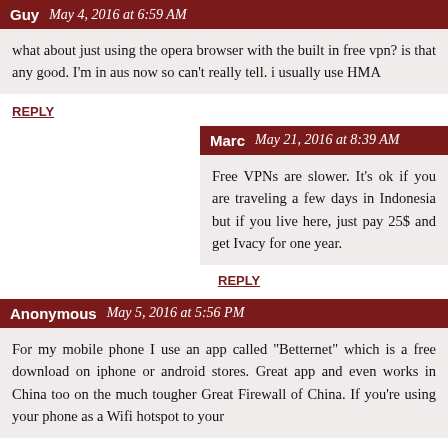Guy  May 4, 2016 at 6:59 AM
what about just using the opera browser with the built in free vpn? is that any good. I'm in aus now so can't really tell. i usually use HMA
REPLY
Marc  May 21, 2016 at 8:39 AM
Free VPNs are slower. It's ok if you are traveling a few days in Indonesia but if you live here, just pay 25$ and get Ivacy for one year.
REPLY
Anonymous  May 5, 2016 at 5:56 PM
For my mobile phone I use an app called "Betternet" which is a free download on iphone or android stores. Great app and even works in China too on the much tougher Great Firewall of China. If you're using your phone as a Wifi hotspot to your